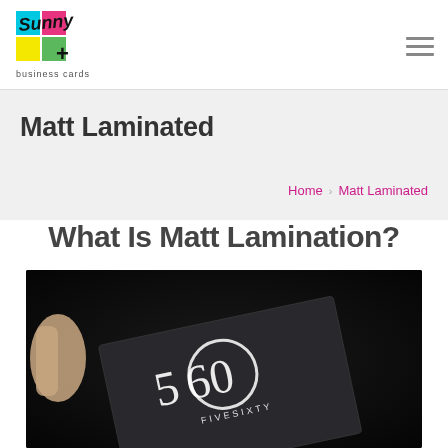Sunny Business Cards - logo and navigation
Matt Laminated
Home › Matt Laminated
What Is Matt Lamination?
[Figure (photo): A dark background photo of a hand holding a matte laminated business card with a logo '560 FIVESIXTY' in white on a dark card.]